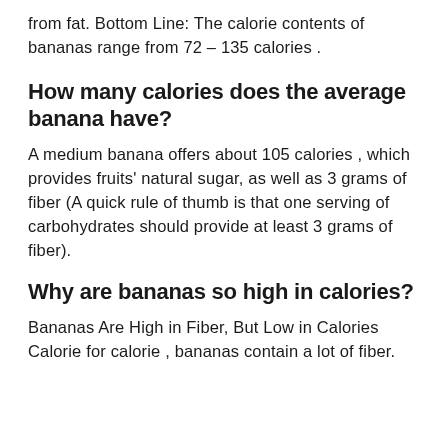from fat. Bottom Line: The calorie contents of bananas range from 72 – 135 calories .
How many calories does the average banana have?
A medium banana offers about 105 calories , which provides fruits' natural sugar, as well as 3 grams of fiber (A quick rule of thumb is that one serving of carbohydrates should provide at least 3 grams of fiber).
Why are bananas so high in calories?
Bananas Are High in Fiber, But Low in Calories Calorie for calorie , bananas contain a lot of fiber.